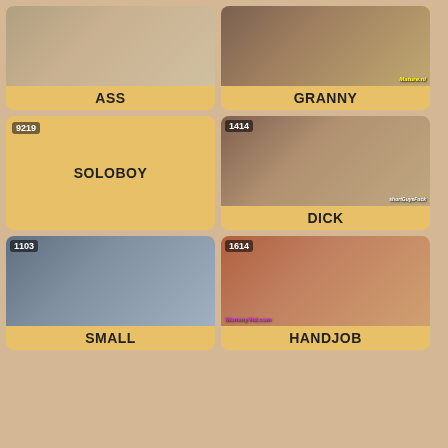[Figure (photo): Thumbnail image for ASS category]
ASS
[Figure (photo): Thumbnail image for GRANNY category with Mature.nl watermark]
GRANNY
9219 SOLOBOY
[Figure (photo): Thumbnail image for DICK category, count 1414, shortguysfuck watermark]
DICK
[Figure (photo): Thumbnail image for SMALL category, count 1103]
SMALL
[Figure (photo): Thumbnail image for HANDJOB category, count 1614, MommyVid.com watermark]
HANDJOB